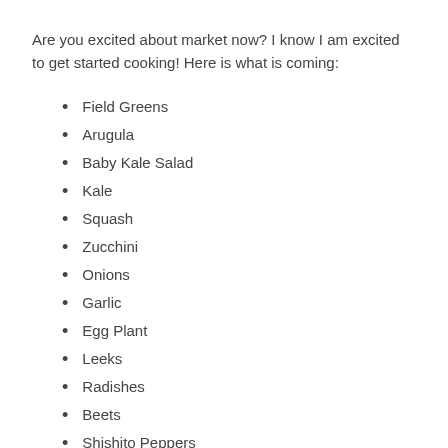Are you excited about market now?  I know I am excited to get started cooking!  Here is what is coming:
Field Greens
Arugula
Baby Kale Salad
Kale
Squash
Zucchini
Onions
Garlic
Egg Plant
Leeks
Radishes
Beets
Shishito Peppers